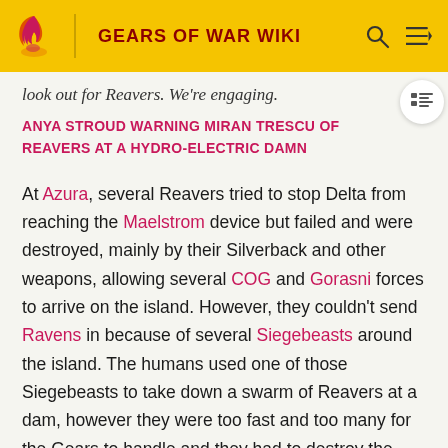GEARS OF WAR WIKI
look out for Reavers. We're engaging.
ANYA STROUD WARNING MIRAN TRESCU OF REAVERS AT A HYDRO-ELECTRIC DAMN
At Azura, several Reavers tried to stop Delta from reaching the Maelstrom device but failed and were destroyed, mainly by their Silverback and other weapons, allowing several COG and Gorasni forces to arrive on the island. However, they couldn't send Ravens in because of several Siegebeasts around the island. The humans used one of those Siegebeasts to take down a swarm of Reavers at a dam, however they were too fast and too many for the Gears to handle and they had to destroy the